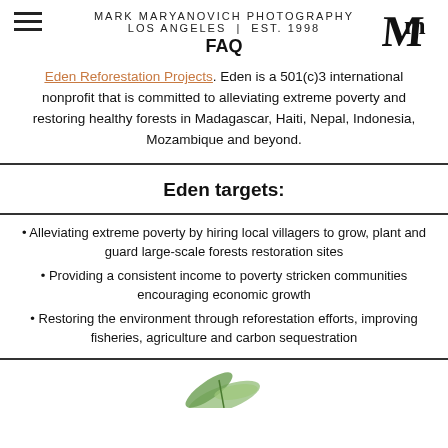MARK MARYANOVICH PHOTOGRAPHY LOS ANGELES | EST. 1998 FAQ
Eden Reforestation Projects. Eden is a 501(c)3 international nonprofit that is committed to alleviating extreme poverty and restoring healthy forests in Madagascar, Haiti, Nepal, Indonesia, Mozambique and beyond.
Eden targets:
Alleviating extreme poverty by hiring local villagers to grow, plant and guard large-scale forests restoration sites
Providing a consistent income to poverty stricken communities encouraging economic growth
Restoring the environment through reforestation efforts, improving fisheries, agriculture and carbon sequestration
[Figure (illustration): Partial view of green leaf/plant illustration at bottom of page]